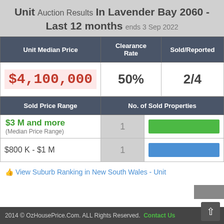Unit Auction Results In Lavender Bay 2060 - Last 12 months ends 3 Sep 2022
| Unit Median Price | Clearance Rate | Sold/Reported |
| --- | --- | --- |
| $4,100,000 | 50% | 2/4 |
| Sold Price Range | No. of Sold Properties |
| --- | --- |
| $3 M and more (Median Price Range) | 1 | [green bar] |
| $800 K - $1 M | 1 | [blue bar] |
👍 View Suburb Ranking in New South Wales - Unit
2014 © OzHousePrice.Com. ALL Rights Reserved. Contact Us